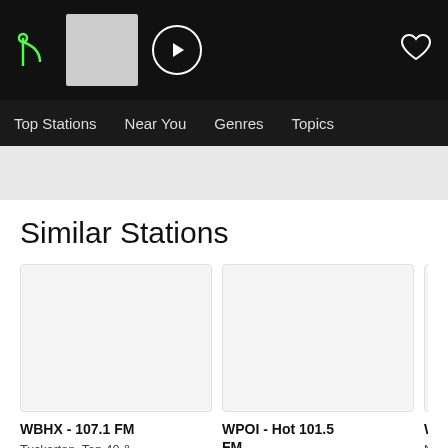[Figure (screenshot): TuneIn radio app top navigation bar with logo, album thumbnail, play button, and heart icon]
Top Stations  Near You  Genres  Topics
Similar Stations
[Figure (other): Station card image placeholder for WBHX - 107.1 FM]
WBHX - 107.1 FM
Tuckerton, Top 40 & Charts
[Figure (other): Station card image placeholder for WPOI - Hot 101.5 FM]
WPOI - Hot 101.5 FM
St. Petersburg FL, Top 40 & Charts
[Figure (other): Station card image placeholder for WNVZ - Z104]
WNVZ - Z104
Norfolk, Top 40 & Charts
[Figure (other): Station card image placeholder for KSXY (partially visible)]
KSXY
Calisto